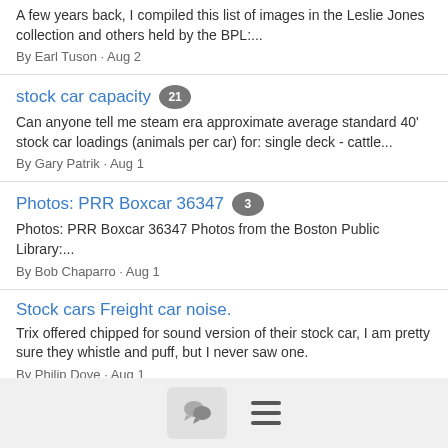A few years back, I compiled this list of images in the Leslie Jones collection and others held by the BPL:...
By Earl Tuson · Aug 2
stock car capacity 21
Can anyone tell me steam era approximate average standard 40' stock car loadings (animals per car) for: single deck - cattle...
By Gary Patrik · Aug 1
Photos: PRR Boxcar 36347 3
Photos: PRR Boxcar 36347 Photos from the Boston Public Library:...
By Bob Chaparro · Aug 1
Stock cars Freight car noise.
Trix offered chipped for sound version of their stock car, I am pretty sure they whistle and puff, but I never saw one.
By Philip Dove · Aug 1
RPM Collinsville 6